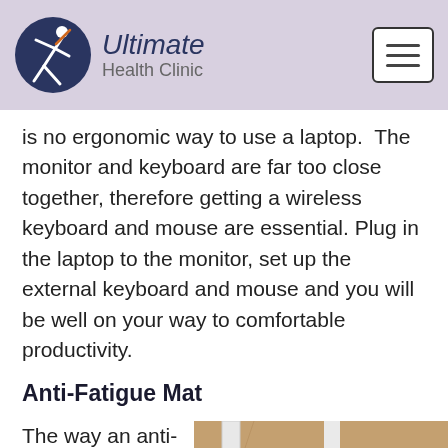Ultimate Health Clinic
is no ergonomic way to use a laptop.  The monitor and keyboard are far too close together, therefore getting a wireless keyboard and mouse are essential. Plug in the laptop to the monitor, set up the external keyboard and mouse and you will be well on your way to comfortable productivity.
Anti-Fatigue Mat
The way an anti-fatigue mat
[Figure (photo): Photo of a standing desk mat on a wooden floor with desk legs visible]